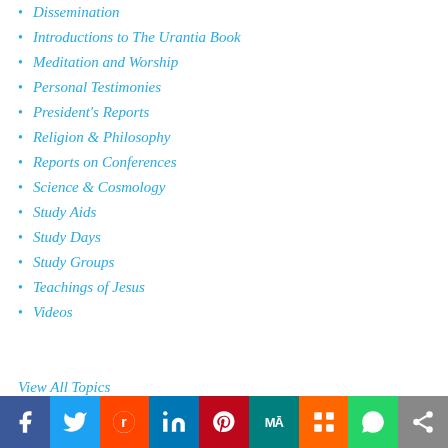Dissemination
Introductions to The Urantia Book
Meditation and Worship
Personal Testimonies
President's Reports
Religion & Philosophy
Reports on Conferences
Science & Cosmology
Study Aids
Study Days
Study Groups
Teachings of Jesus
Videos
View All Topics